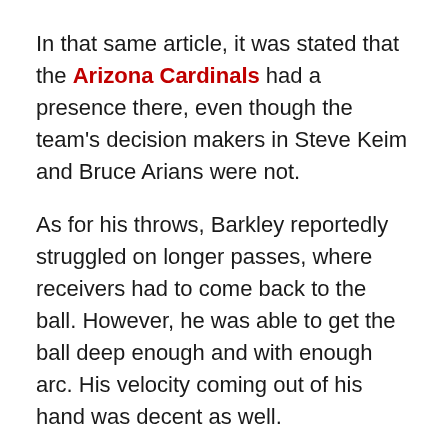In that same article, it was stated that the Arizona Cardinals had a presence there, even though the team's decision makers in Steve Keim and Bruce Arians were not.
As for his throws, Barkley reportedly struggled on longer passes, where receivers had to come back to the ball. However, he was able to get the ball deep enough and with enough arc. His velocity coming out of his hand was decent as well.
What he showed was that "he has by far the best footwork, ball flight (ability to put the right amount of air under the ball), anticipation, and sense of play action of any quarterback in this draft class."
Barkley was asked if he felt he had something to